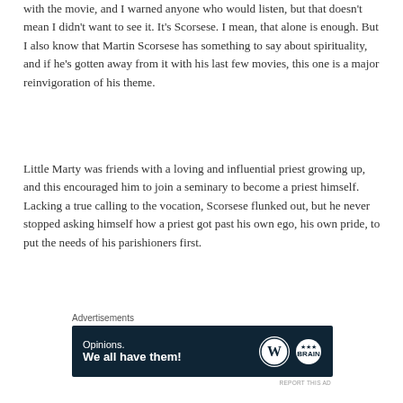with the movie, and I warned anyone who would listen, but that doesn't mean I didn't want to see it. It's Scorsese. I mean, that alone is enough. But I also know that Martin Scorsese has something to say about spirituality, and if he's gotten away from it with his last few movies, this one is a major reinvigoration of his theme.
Little Marty was friends with a loving and influential priest growing up, and this encouraged him to join a seminary to become a priest himself. Lacking a true calling to the vocation, Scorsese flunked out, but he never stopped asking himself how a priest got past his own ego, his own pride, to put the needs of his parishioners first.
Advertisements
[Figure (other): Advertisement banner with dark navy background. Text reads 'Opinions. We all have them!' with WordPress logo and a circular brain/head logo on the right side.]
REPORT THIS AD